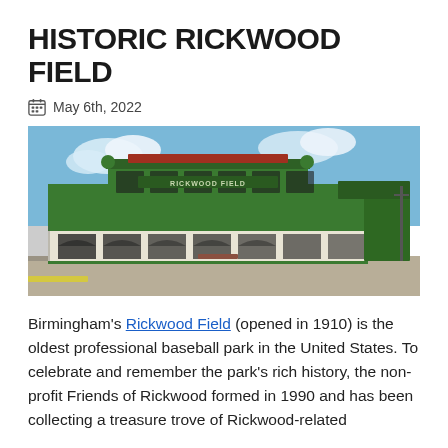HISTORIC RICKWOOD FIELD
📅 May 6th, 2022
[Figure (photo): Exterior photograph of Historic Rickwood Field, a green two-story building with white arched entryways and a red tile roof, taken from street level under a blue sky with clouds.]
Birmingham's Rickwood Field (opened in 1910) is the oldest professional baseball park in the United States. To celebrate and remember the park's rich history, the non-profit Friends of Rickwood formed in 1990 and has been collecting a treasure trove of Rickwood-related